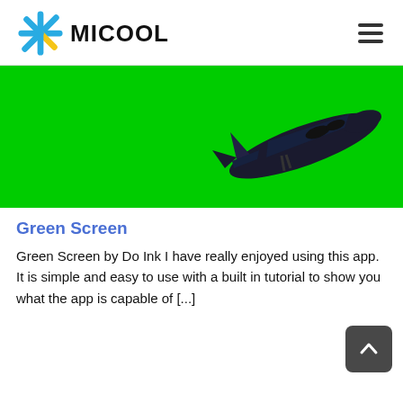MICOOL
[Figure (photo): Green screen background (bright green) with a dark commercial airplane flying upper-right, viewed from below]
Green Screen
Green Screen by Do Ink I have really enjoyed using this app. It is simple and easy to use with a built in tutorial to show you what the app is capable of [...]